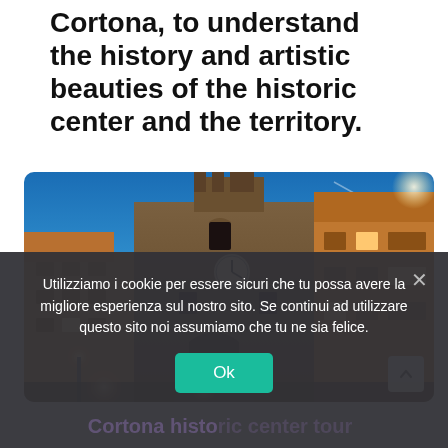Cortona, to understand the history and artistic beauties of the historic center and the territory.
[Figure (photo): Nighttime photo of Cortona historic center showing a stone clock tower and medieval buildings lit with warm lights against a blue sky, taken from a low angle.]
Utilizziamo i cookie per essere sicuri che tu possa avere la migliore esperienza sul nostro sito. Se continui ad utilizzare questo sito noi assumiamo che tu ne sia felice.
Ok
Cortona historic center tour